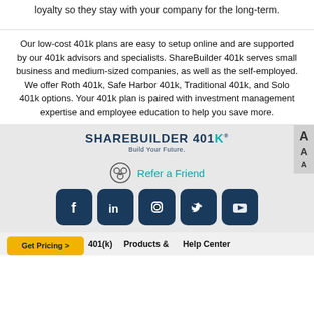loyalty so they stay with your company for the long-term.
Our low-cost 401k plans are easy to setup online and are supported by our 401k advisors and specialists. ShareBuilder 401k serves small business and medium-sized companies, as well as the self-employed. We offer Roth 401k, Safe Harbor 401k, Traditional 401k, and Solo 401k options. Your 401k plan is paired with investment management expertise and employee education to help you save more.
[Figure (logo): ShareBuilder 401K logo with tagline 'Build Your Future.']
[Figure (infographic): Refer a Friend link with circular icon]
[Figure (infographic): Social media icons: Facebook, LinkedIn, Instagram, Twitter, YouTube]
Get Pricing | 401(k) | Products & | Help Center